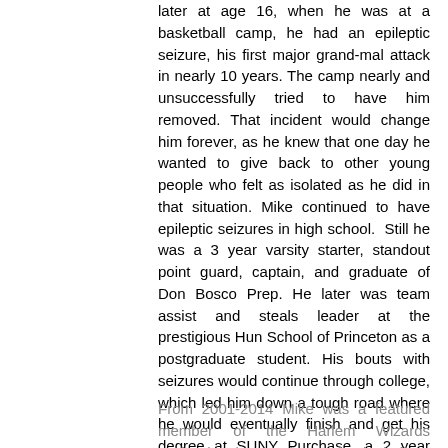later at age 16, when he was at a basketball camp, he had an epileptic seizure, his first major grand-mal attack in nearly 10 years. The camp nearly and unsuccessfully tried to have him removed. That incident would change him forever, as he knew that one day he wanted to give back to other young people who felt as isolated as he did in that situation. Mike continued to have epileptic seizures in high school.  Still he was a 3 year varsity starter, standout point guard, captain, and graduate of Don Bosco Prep. He later was team assist and steals leader at the prestigious Hun School of Princeton as a postgraduate student. His bouts with seizures would continue through college, which led him down a tough road where he would eventually finish and get his degree at SUNY Purchase, a 2 year captain, assist and steals leader. Fortunately, Mike has come back from a near fatal 108-degree fever and coma condition at age 24, and dealt with epilepsy throughout his adult life.  Currently, Mike take 15 pills for his conditions.  He is now seizure free, a survivor, and a model picture of healthy living.  Mike has made it his mission to help connect with kids and tell his story to all.
From 2001-2014 Mike was a featured member of the Harlem Wizards professional entertainment basketball